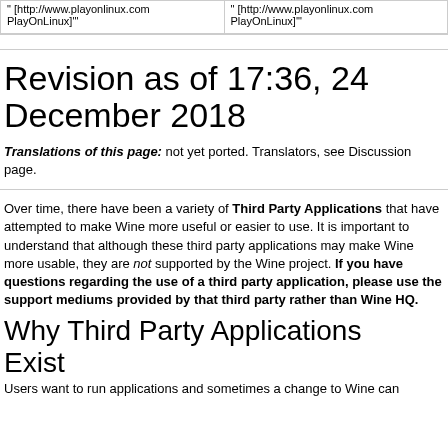| " [http://www.playonlinux.com PlayOnLinux]" | " [http://www.playonlinux.com PlayOnLinux]" |
Revision as of 17:36, 24 December 2018
Translations of this page: not yet ported. Translators, see Discussion page.
Over time, there have been a variety of Third Party Applications that have attempted to make Wine more useful or easier to use. It is important to understand that although these third party applications may make Wine more usable, they are not supported by the Wine project. If you have questions regarding the use of a third party application, please use the support mediums provided by that third party rather than Wine HQ.
Why Third Party Applications Exist
Users want to run applications and sometimes a change to Wine can